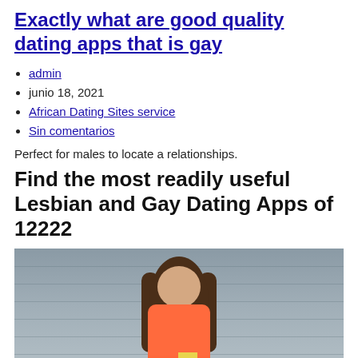Exactly what are good quality dating apps that is gay
admin
junio 18, 2021
African Dating Sites service
Sin comentarios
Perfect for males to locate a relationships.
Find the most readily useful Lesbian and Gay Dating Apps of 12222
[Figure (photo): A young woman with long brown hair wearing a bright orange/coral sleeveless dress with a yellow accent, standing against a grey horizontal siding wall, looking at the camera with a neutral expression.]